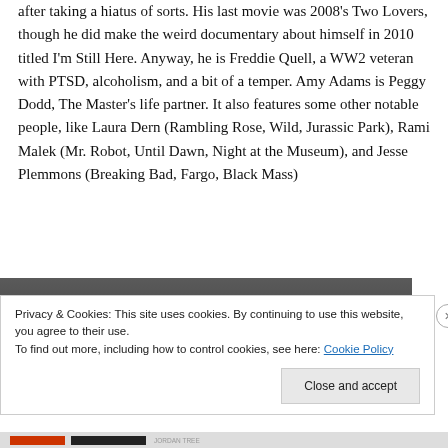after taking a hiatus of sorts. His last movie was 2008's Two Lovers, though he did make the weird documentary about himself in 2010 titled I'm Still Here. Anyway, he is Freddie Quell, a WW2 veteran with PTSD, alcoholism, and a bit of a temper. Amy Adams is Peggy Dodd, The Master's life partner. It also features some other notable people, like Laura Dern (Rambling Rose, Wild, Jurassic Park), Rami Malek (Mr. Robot, Until Dawn, Night at the Museum), and Jesse Plemmons (Breaking Bad, Fargo, Black Mass)
[Figure (photo): Dark background image strip partially visible behind cookie consent banner]
Privacy & Cookies: This site uses cookies. By continuing to use this website, you agree to their use.
To find out more, including how to control cookies, see here: Cookie Policy
Close and accept